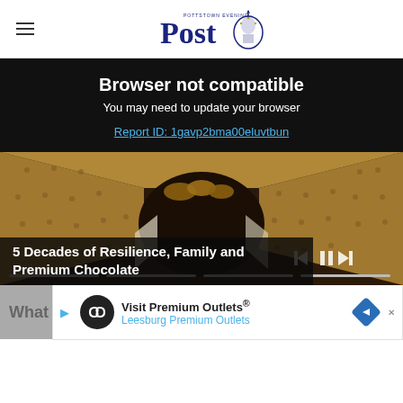Pottstown Evening Post
Browser not compatible
You may need to update your browser
Report ID: 1gavp2bma00eluvtbun
[Figure (photo): Video player thumbnail showing a chocolate tunnel/factory scene with golden/brown interior, coins visible at top. Video controls and progress bar visible at bottom right.]
5 Decades of Resilience, Family and Premium Chocolate
[Figure (infographic): Advertisement banner: Visit Premium Outlets® - Leesburg Premium Outlets, with infinity logo circle, play button, and blue diamond arrow.]